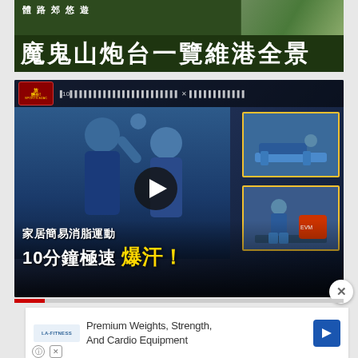[Figure (screenshot): Top banner with dark green background showing Chinese text '體路郊悠遊' and large bold title '魔鬼山炮台一覽維港全景' with a nature photo on right]
[Figure (screenshot): Video thumbnail showing two athletes in navy sportswear, fitness exercises in right panels, play button overlay, and Chinese text '家居簡易消脂運動 10分鐘極速爆汗!' with logo top-left]
[Figure (screenshot): Advertisement banner for LA Fitness: 'Premium Weights, Strength, And Cardio Equipment' with blue navigation arrow icon]